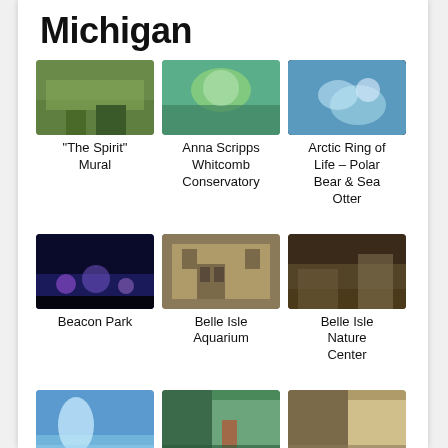Michigan
[Figure (photo): Aerial view of a mural area in Michigan]
“The Spirit” Mural
[Figure (photo): Anna Scripps Whitcomb Conservatory building with greenhouse dome]
Anna Scripps Whitcomb Conservatory
[Figure (photo): Polar bear or sea otter underwater at Arctic Ring of Life]
Arctic Ring of Life – Polar Bear & Sea Otter
[Figure (photo): Beacon Park at night with lights and crowd]
Beacon Park
[Figure (photo): Belle Isle Aquarium historic brick building exterior]
Belle Isle Aquarium
[Figure (photo): Belle Isle Nature Center interior]
Belle Isle Nature Center
[Figure (photo): Belle Isle with fountain and blue sky]
Belle Isle
[Figure (photo): Cadillac Square with buildings and sailboat]
Cadillac
[Figure (photo): Campus Martius area with outdoor seating]
Campus